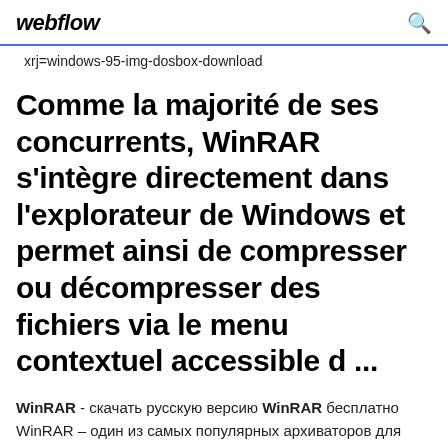webflow
xrj=windows-95-img-dosbox-download
Comme la majorité de ses concurrents, WinRAR s'intègre directement dans l'explorateur de Windows et permet ainsi de compresser ou décompresser des fichiers via le menu contextuel accessible d ...
WinRAR - скачать русскую версию WinRAR бесплатно WinRAR – один из самых популярных архиваторов для Windows, отличающийся высочайшей степенью сжатия данных в